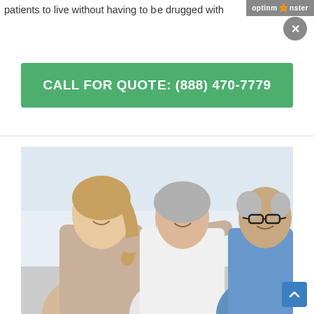patients to live without having to be drugged with
[Figure (logo): OptinMonster logo badge in grey bar, top right, with orange monster icon]
CALL FOR QUOTE: (888) 470-7779
[Figure (photo): A young woman with a ponytail smiling and resting her hand on the shoulder of an elderly woman in white, while an older man with glasses looks on, in a bright indoor setting]